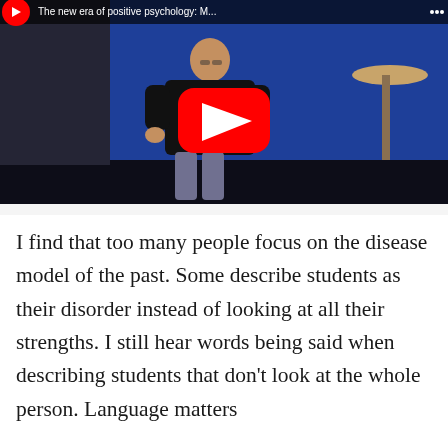[Figure (screenshot): YouTube video screenshot showing a man in a black sweater and gray pants on a blue-lit stage, with a YouTube play button overlay. Title bar partially visible at top.]
I find that too many people focus on the disease model of the past. Some describe students as their disorder instead of looking at all their strengths. I still hear words being said when describing students that don't look at the whole person. Language matters